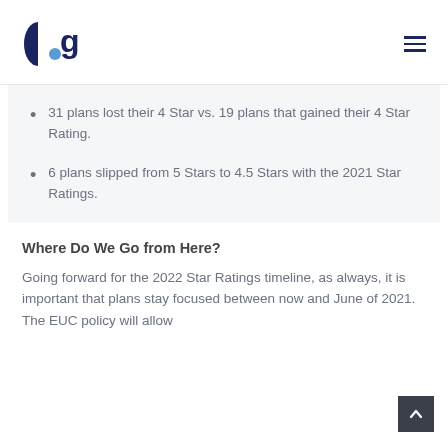ghg
31 plans lost their 4 Star vs. 19 plans that gained their 4 Star Rating.
6 plans slipped from 5 Stars to 4.5 Stars with the 2021 Star Ratings.
Where Do We Go from Here?
Going forward for the 2022 Star Ratings timeline, as always, it is important that plans stay focused between now and June of 2021. The EUC policy will allow